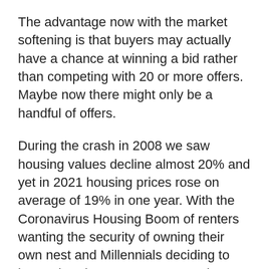The advantage now with the market softening is that buyers may actually have a chance at winning a bid rather than competing with 20 or more offers. Maybe now there might only be a handful of offers.
During the crash in 2008 we saw housing values decline almost 20% and yet in 2021 housing prices rose on average of 19% in one year. With the Coronavirus Housing Boom of renters wanting the security of owning their own nest and Millennials deciding to buy rather than rent we saw not just unholy increases in offering prices by homeowners but super low inventory. As our inflation keeps growing experts believe recession will follow, and when that happens, we usually